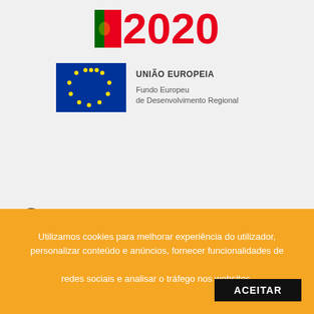[Figure (logo): Portugal 2020 logo with red text '2020' and Portuguese flag icon]
[Figure (logo): EU flag with yellow stars on blue background next to text 'UNIÃO EUROPEIA' and 'Fundo Europeu de Desenvolvimento Regional']
Contactos
Avenida D. António correia de sá, 82/82A
Centro Empresarial Ral II
Arm. I/H - Ral
2705 - 905 terrugem sintra
Utilizamos cookies para melhorar experiência do utilizador, personalizar conteúdo e anúncios, fornecer funcionalidades de redes sociais e analisar o tráfego nos websites. ACEITAR